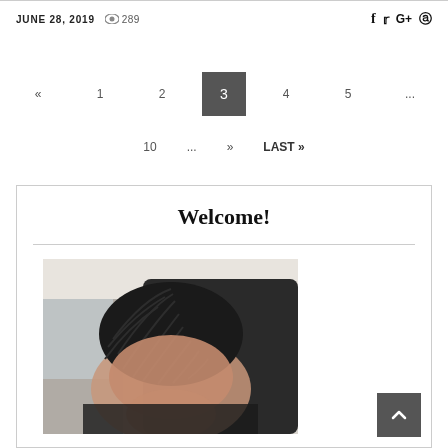JUNE 28, 2019  👁 289
« 1 2 3 4 5 ... 10 ... » LAST »
Welcome!
[Figure (photo): Photo of a person with braided hair sitting in a car, taken from a selfie angle]